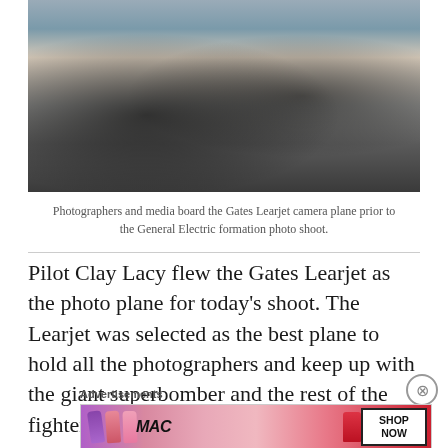[Figure (photo): Photographers and media personnel in dark jackets boarding or standing near a Gates Learjet camera plane, with camera equipment visible in the foreground.]
Photographers and media board the Gates Learjet camera plane prior to the General Electric formation photo shoot.
Pilot Clay Lacy flew the Gates Learjet as the photo plane for today's shoot. The Learjet was selected as the best plane to hold all the photographers and keep up with the giant superbomber and the rest of the fighter planes.
Advertisements
[Figure (photo): MAC cosmetics advertisement showing colorful lipsticks and the MAC logo with a 'SHOP NOW' call-to-action button.]